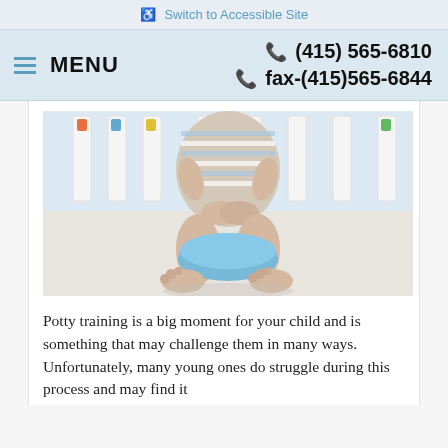♿ Switch to Accessible Site
≡ MENU   ☎ (415) 565-6810   ☎ fax-(415)565-6844
[Figure (photo): Young toddler in striped onesie sitting on a small blue potty training seat on a carpeted floor, with a white crib visible in the background.]
Potty training is a big moment for your child and is something that may challenge them in many ways. Unfortunately, many young ones do struggle during this process and may find it